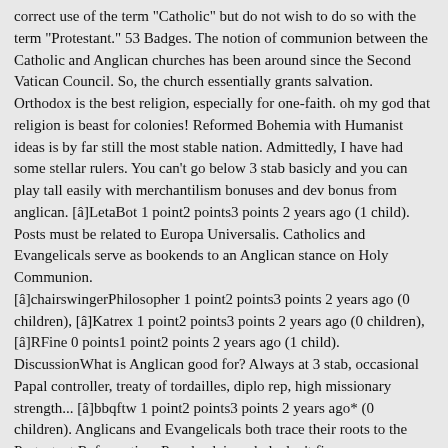correct use of the term "Catholic" but do not wish to do so with the term "Protestant." 53 Badges. The notion of communion between the Catholic and Anglican churches has been around since the Second Vatican Council. So, the church essentially grants salvation. Orthodox is the best religion, especially for one-faith. oh my god that religion is beast for colonies! Reformed Bohemia with Humanist ideas is by far still the most stable nation. Admittedly, I have had some stellar rulers. You can't go below 3 stab basicly and you can play tall easily with merchantilism bonuses and dev bonus from anglican. [â€‹]LetaBot 1 point2 points3 points 2 years ago (1 child). Posts must be related to Europa Universalis. Catholics and Evangelicals serve as bookends to an Anglican stance on Holy Communion.
[â€‹]chairswingerPhilosopher 1 point2 points3 points 2 years ago (0 children), [â€‹]Katrex 1 point2 points3 points 2 years ago (0 children), [â€‹]RFine 0 points1 point2 points 2 years ago (1 child). DiscussionWhat is Anglican good for? Always at 3 stab, occasional Papal controller, treaty of tordailles, diplo rep, high missionary strength... [â€‹]bbqftw 1 point2 points3 points 2 years ago* (0 children). Anglicans and Evangelicals both trace their roots to the Protestant Reformation. People claim rebels don't fire on x y or z nation with humanist. Finally, i also managed to do my WC. I do think Anglican is significantly more powerful than Protestantism.